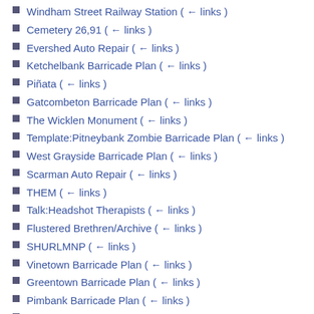Windham Street Railway Station  (← links)
Cemetery 26,91  (← links)
Evershed Auto Repair  (← links)
Ketchelbank Barricade Plan  (← links)
Piñata  (← links)
Gatcombeton Barricade Plan  (← links)
The Wicklen Monument  (← links)
Template:Pitneybank Zombie Barricade Plan  (← links)
West Grayside Barricade Plan  (← links)
Scarman Auto Repair  (← links)
THEM  (← links)
Talk:Headshot Therapists  (← links)
Flustered Brethren/Archive  (← links)
SHURLMNP  (← links)
Vinetown Barricade Plan  (← links)
Greentown Barricade Plan  (← links)
Pimbank Barricade Plan  (← links)
Jensentown Barricade Plan  (← links)
Malton Department of Defense/Handbook  (← links)
Edgecombe Barricade Plan  (← links)
Suburb Navigation Map  (← links)
Template:Crowbank Barricade Plan  (← links)